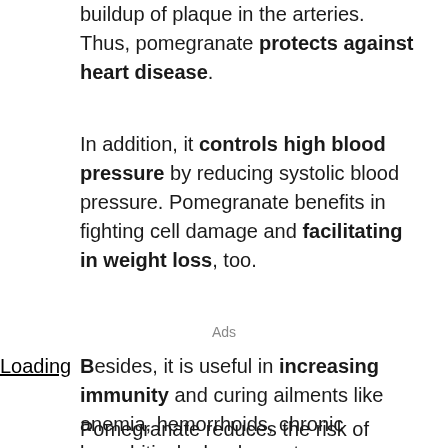buildup of plaque in the arteries. Thus, pomegranate protects against heart disease.
In addition, it controls high blood pressure by reducing systolic blood pressure. Pomegranate benefits in fighting cell damage and facilitating in weight loss, too.
Ads
Loading
Besides, it is useful in increasing immunity and curing ailments like anemia, hemorrhoids, chronic bronchitis, leukorrhea, etc.
Pomegranate reduces the risk of developing